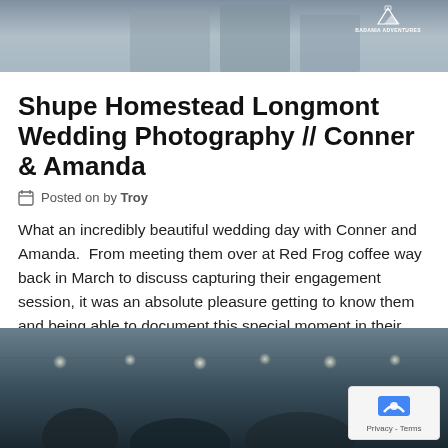[Figure (photo): Wedding photo showing couple embracing, top of page banner image]
Shupe Homestead Longmont Wedding Photography // Conner & Amanda
Posted on by Troy
What an incredibly beautiful wedding day with Conner and Amanda.  From meeting them over at Red Frog coffee way back in March to discuss capturing their engagement session, it was an absolute pleasure getting to know them and being able to document this special moment in their lives.  Amanda beautifully adorned her mother and grandmother's [...]
Leave a comment
[Figure (photo): Bottom portion of wedding reception photo with string lights in background]